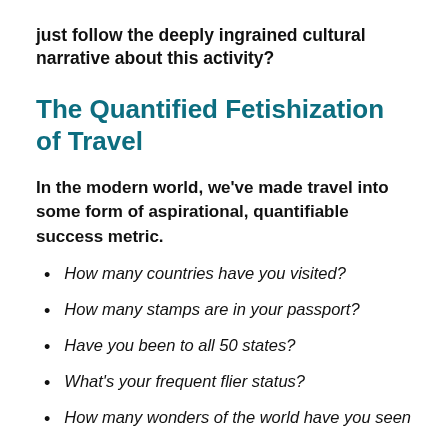just follow the deeply ingrained cultural narrative about this activity?
The Quantified Fetishization of Travel
In the modern world, we've made travel into some form of aspirational, quantifiable success metric.
How many countries have you visited?
How many stamps are in your passport?
Have you been to all 50 states?
What's your frequent flier status?
How many wonders of the world have you seen